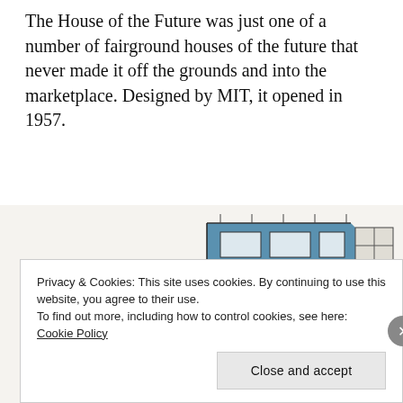The House of the Future was just one of a number of fairground houses of the future that never made it off the grounds and into the marketplace. Designed by MIT, it opened in 1957.
[Figure (illustration): Architectural cutaway illustration of a futuristic house design showing multiple rooms, outdoor terraces, stairs, and furniture from a bird's-eye isometric perspective. The building is rendered in blue and beige tones. A caption inside reads: 'Futuristic models sprout wings where you need them'.]
Futuristic models sprout wings where you need them
Privacy & Cookies: This site uses cookies. By continuing to use this website, you agree to their use.
To find out more, including how to control cookies, see here: Cookie Policy
Close and accept